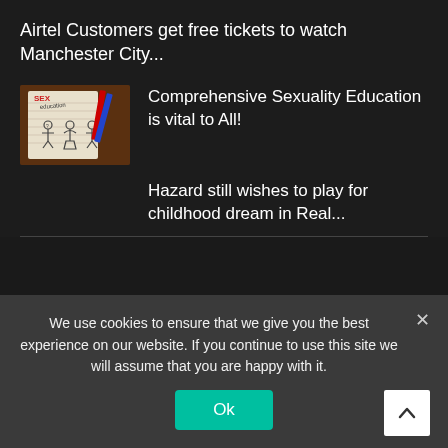Airtel Customers get free tickets to watch Manchester City...
[Figure (photo): Sex education notebook with stick figures]
Comprehensive Sexuality Education is vital to All!
Hazard still wishes to play for childhood dream in Real...
We use cookies to ensure that we give you the best experience on our website. If you continue to use this site we will assume that you are happy with it.